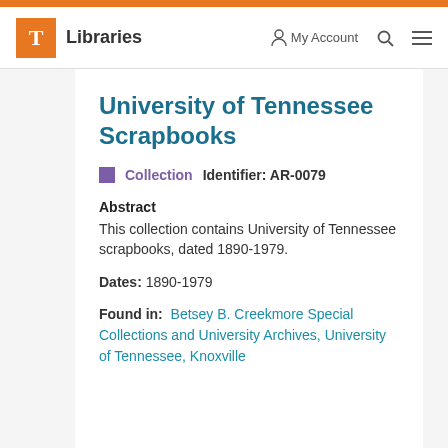T Libraries | My Account | Search | Menu
University of Tennessee Scrapbooks
Collection  Identifier: AR-0079
Abstract
This collection contains University of Tennessee scrapbooks, dated 1890-1979.
Dates: 1890-1979
Found in: Betsey B. Creekmore Special Collections and University Archives, University of Tennessee, Knoxville